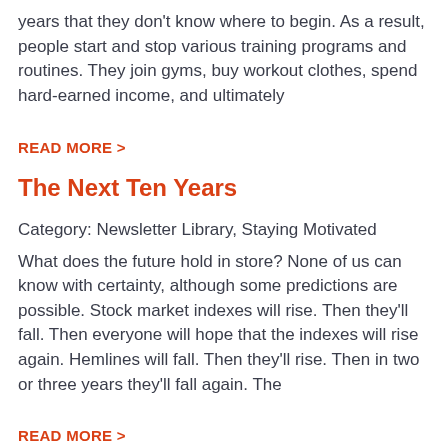years that they don't know where to begin. As a result, people start and stop various training programs and routines. They join gyms, buy workout clothes, spend hard-earned income, and ultimately
READ MORE >
The Next Ten Years
Category: Newsletter Library, Staying Motivated
What does the future hold in store? None of us can know with certainty, although some predictions are possible. Stock market indexes will rise. Then they'll fall. Then everyone will hope that the indexes will rise again. Hemlines will fall. Then they'll rise. Then in two or three years they'll fall again. The
READ MORE >